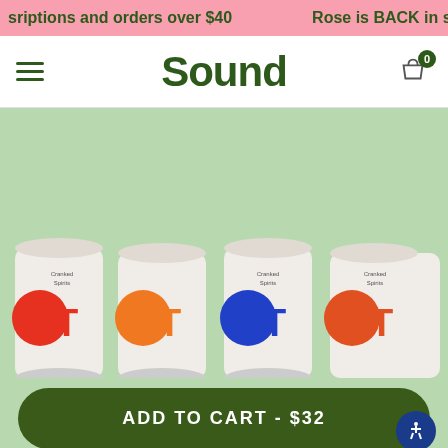sriptions and orders over $40   Rose is BACK in stock!
Sound
[Figure (photo): Four cans of Sound sparkling water/soda arranged in a row on a sage green background. Cans feature colorful circular brand marks in red, orange, blue, and orange-red.]
ADD TO CART - $32